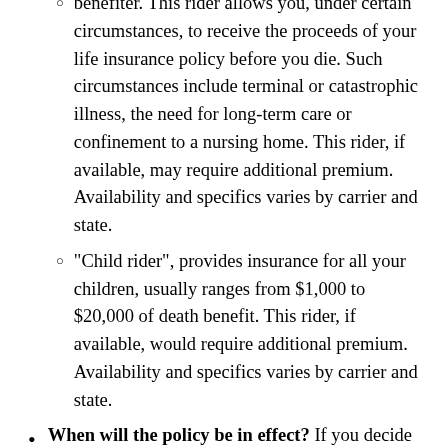benefiter. This rider allows you, under certain circumstances, to receive the proceeds of your life insurance policy before you die. Such circumstances include terminal or catastrophic illness, the need for long-term care or confinement to a nursing home. This rider, if available, may require additional premium. Availability and specifics varies by carrier and state.
"Child rider", provides insurance for all your children, usually ranges from $1,000 to $20,000 of death benefit. This rider, if available, would require additional premium. Availability and specifics varies by carrier and state.
When will the policy be in effect? If you decide to purchase the policy, find out when the insurance becomes effective. This could be different from the date the company issues the policy.